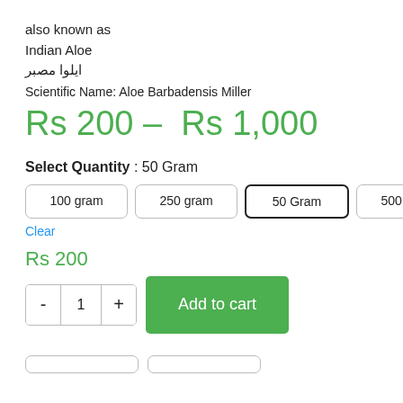also known as
Indian Aloe
ایلوا
مصبر
Scientific Name: Aloe Barbadensis Miller
Rs 200 – Rs 1,000
Select Quantity : 50 Gram
100 gram
250 gram
50 Gram
500 gram
Clear
Rs 200
- 1 +  Add to cart